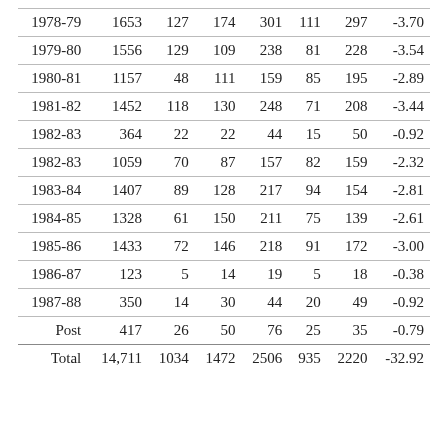| 1978-79 | 1653 | 127 | 174 | 301 | 111 | 297 | -3.70 |
| 1979-80 | 1556 | 129 | 109 | 238 | 81 | 228 | -3.54 |
| 1980-81 | 1157 | 48 | 111 | 159 | 85 | 195 | -2.89 |
| 1981-82 | 1452 | 118 | 130 | 248 | 71 | 208 | -3.44 |
| 1982-83 | 364 | 22 | 22 | 44 | 15 | 50 | -0.92 |
| 1982-83 | 1059 | 70 | 87 | 157 | 82 | 159 | -2.32 |
| 1983-84 | 1407 | 89 | 128 | 217 | 94 | 154 | -2.81 |
| 1984-85 | 1328 | 61 | 150 | 211 | 75 | 139 | -2.61 |
| 1985-86 | 1433 | 72 | 146 | 218 | 91 | 172 | -3.00 |
| 1986-87 | 123 | 5 | 14 | 19 | 5 | 18 | -0.38 |
| 1987-88 | 350 | 14 | 30 | 44 | 20 | 49 | -0.92 |
| Post | 417 | 26 | 50 | 76 | 25 | 35 | -0.79 |
| Total | 14,711 | 1034 | 1472 | 2506 | 935 | 2220 | -32.92 |